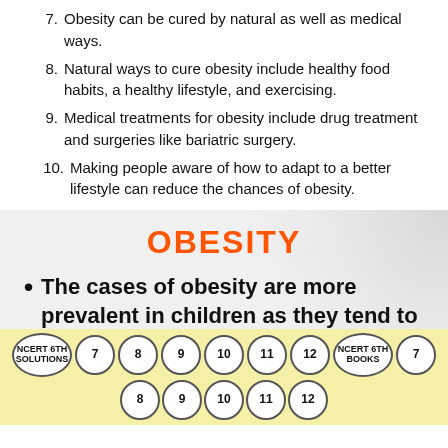7. Obesity can be cured by natural as well as medical ways.
8. Natural ways to cure obesity include healthy food habits, a healthy lifestyle, and exercising.
9. Medical treatments for obesity include drug treatment and surgeries like bariatric surgery.
10. Making people aware of how to adapt to a better lifestyle can reduce the chances of obesity.
OBESITY
The cases of obesity are more prevalent in children as they tend to
NCERT 6TH SOLUTIONS  7  8  9  10  11  12  NCERT 6TH BOOKS  7  8  9  10  11  12